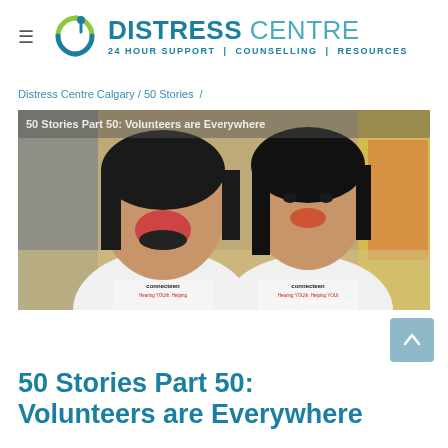DISTRESS CENTRE — 24 HOUR SUPPORT | COUNSELLING | RESOURCES
Distress Centre Calgary / 50 Stories /
[Figure (photo): Two smiling young women wearing white Connecteen volunteer t-shirts in a crowded indoor venue. Text overlay reads '50 Stories Part 50: Volunteers are Everywhere'. Watermark at bottom right.]
50 Stories Part 50: Volunteers are Everywhere